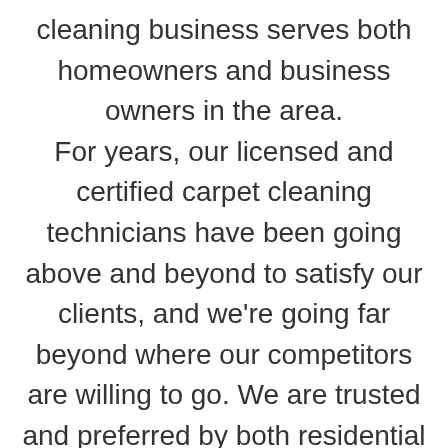cleaning business serves both homeowners and business owners in the area. For years, our licensed and certified carpet cleaning technicians have been going above and beyond to satisfy our clients, and we're going far beyond where our competitors are willing to go. We are trusted and preferred by both residential and commercial clients, and our affordable, timely services can be beneficial to anyone who owns rugs and carpets in the area. We're a family-owned and operated